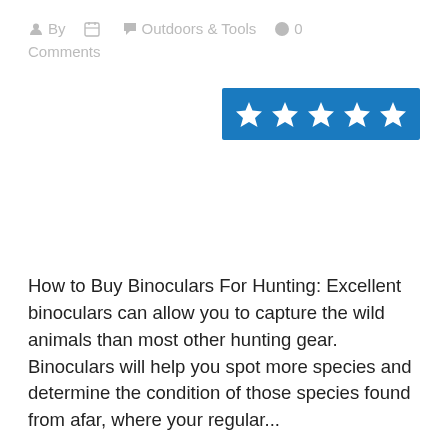By  [calendar icon]  Outdoors & Tools  [comment icon] 0 Comments
[Figure (other): Five white star rating icons on a blue rectangle background, indicating a 5-star rating.]
How to Buy Binoculars For Hunting: Excellent binoculars can allow you to capture the wild animals than most other hunting gear. Binoculars will help you spot more species and determine the condition of those species found from afar, where your regular...